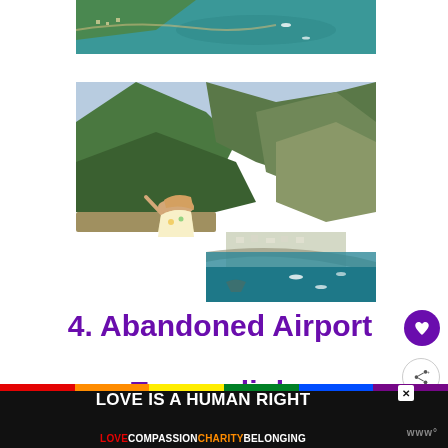[Figure (photo): Aerial view of a coastal town with turquoise sea water and boats, green hillside visible at top]
[Figure (photo): Woman in floral dress sitting on a stone wall overlooking dramatic green mountain cliffs and a coastal bay with turquoise water and small town below]
4. Abandoned Airport Esporedinha
[Figure (infographic): Advertisement banner: LOVE IS A HUMAN RIGHT / LOVE COMPASSION CHARITY BELONGING in rainbow colors on black background]